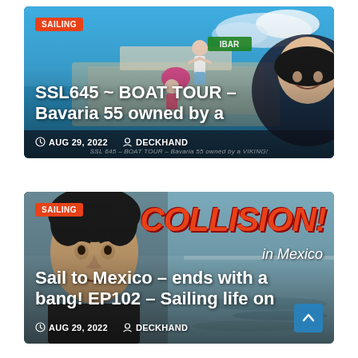[Figure (photo): Top card: Sailing blog post thumbnail showing people on a Bavaria 55 sailboat with blue sky, overlaid with article title and metadata. Badge says SAILING. Title: SSL645 ~ BOAT TOUR – Bavaria 55 owned by a. Date: AUG 29, 2022, Author: DECKHAND.]
[Figure (photo): Bottom card: Sailing blog post thumbnail showing a man's face close-up on left, large orange italic COLLISION! text on right, 'in Mexico' subtitle, and article title: Sail to Mexico – ends with a bang! EP102 – Sailing life on. Date: AUG 29, 2022, Author: DECKHAND.]